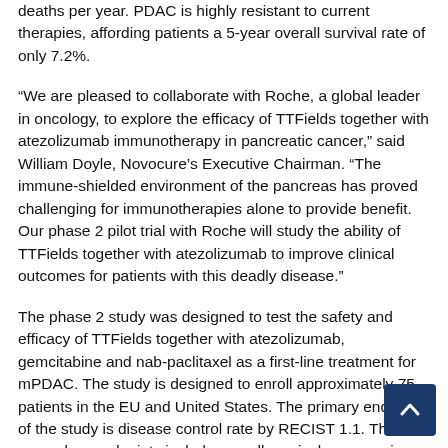deaths per year. PDAC is highly resistant to current therapies, affording patients a 5-year overall survival rate of only 7.2%.
“We are pleased to collaborate with Roche, a global leader in oncology, to explore the efficacy of TTFields together with atezolizumab immunotherapy in pancreatic cancer,” said William Doyle, Novocure’s Executive Chairman. “The immune-shielded environment of the pancreas has proved challenging for immunotherapies alone to provide benefit. Our phase 2 pilot trial with Roche will study the ability of TTFields together with atezolizumab to improve clinical outcomes for patients with this deadly disease.”
The phase 2 study was designed to test the safety and efficacy of TTFields together with atezolizumab, gemcitabine and nab-paclitaxel as a first-line treatment for mPDAC. The study is designed to enroll approximately 75 patients in the EU and United States. The primary endpoint of the study is disease control rate by RECIST 1.1. The secondary endpoints include overall survival, progression free s...